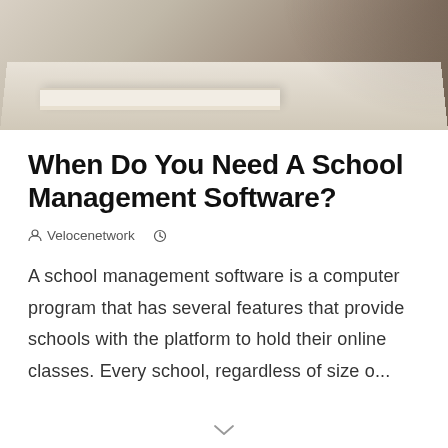[Figure (photo): Black and white or sepia-toned photo of a desk with an open book/notebook and what appears to be papers or a hand in the background]
When Do You Need A School Management Software?
Velocenetwork
A school management software is a computer program that has several features that provide schools with the platform to hold their online classes. Every school, regardless of size o...